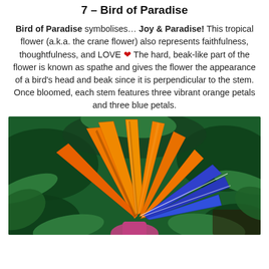7 – Bird of Paradise
Bird of Paradise symbolises… Joy & Paradise! This tropical flower (a.k.a. the crane flower) also represents faithfulness, thoughtfulness, and LOVE ❤ The hard, beak-like part of the flower is known as spathe and gives the flower the appearance of a bird's head and beak since it is perpendicular to the stem. Once bloomed, each stem features three vibrant orange petals and three blue petals.
[Figure (photo): Close-up photo of a Bird of Paradise flower (Strelitzia reginae) with vibrant orange petals and blue petals against a green leafy background.]